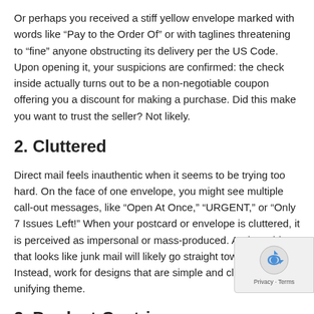Or perhaps you received a stiff yellow envelope marked with words like “Pay to the Order Of” or with taglines threatening to “fine” anyone obstructing its delivery per the US Code. Upon opening it, your suspicions are confirmed: the check inside actually turns out to be a non-negotiable coupon offering you a discount for making a purchase. Did this make you want to trust the seller? Not likely.
2. Cluttered
Direct mail feels inauthentic when it seems to be trying too hard. On the face of one envelope, you might see multiple call-out messages, like “Open At Once,” “URGENT,” or “Only 7 Issues Left!” When your postcard or envelope is cluttered, it is perceived as impersonal or mass-produced. And anything that looks like junk mail will likely go straight toward the trash. Instead, work for designs that are simple and clean, with one unifying theme.
3. Product-Centric